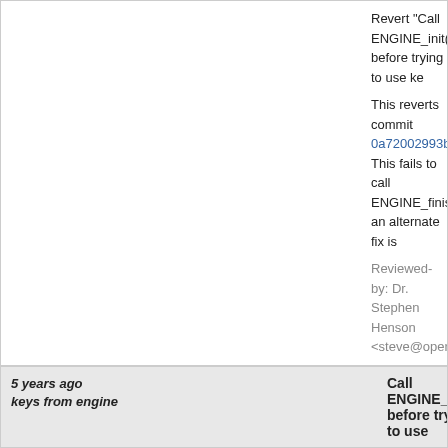Revert "Call ENGINE_init() before trying to use keys from engine"

This reverts commit 0a72002993b8619fd0642d19...
This fails to call ENGINE_finish; an alternate fix is...

Reviewed-by: Dr. Stephen Henson <steve@openssl.org>
5 years ago
keys from engine
Call ENGINE_init() before trying to use
commit | commitdiff | tree
David Woodhouse [Wed, 28 Sep 2016 12:08:45 +0000 (13:08 +0100)]
Call ENGINE_init() before trying to use keys from

When I said before that s_client "used to work in 1... partly true. It worked for engines which provided a... method for some key type, because it called ENG... that ended up being an implicit initialisation and fu...

But an engine which doesn't provide generic meth... and then when you try to use it you get an error:

cannot load client certificate private key file from e... 140688147056384:error:26096075:engine routine... unable to load client certificate private key file

cf. https://github.com/OpenSC/libp11/issues/107 (... that engine_pkcs11 *used* to provide generic met...